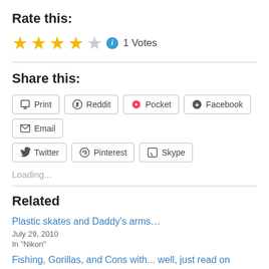Rate this:
★★★★☆ ℹ 1 Votes
Share this:
Print
Reddit
Pocket
Facebook
Email
Twitter
Pinterest
Skype
Loading...
Related
Plastic skates and Daddy's arms…
July 29, 2010
In "Nikon"
Fishing, Gorillas, and Cons with... well, just read on